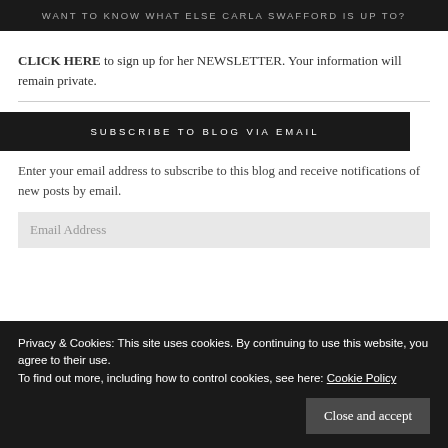WANT TO KNOW WHAT ELSE CARLA SWAFFORD IS UP TO?
CLICK HERE to sign up for her NEWSLETTER. Your information will remain private.
SUBSCRIBE TO BLOG VIA EMAIL
Enter your email address to subscribe to this blog and receive notifications of new posts by email.
Email Address
Privacy & Cookies: This site uses cookies. By continuing to use this website, you agree to their use.
To find out more, including how to control cookies, see here: Cookie Policy